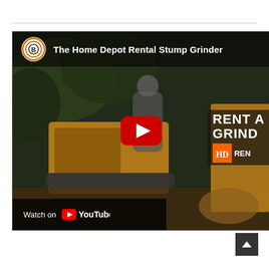[Figure (screenshot): YouTube video thumbnail for 'The Home Depot Rental Stump Grinder'. Shows a stump grinder machine in action with operator, trees in background. Has a YouTube play button overlay, 'Watch on YouTube' bar at bottom-left, channel icon with 'B' logo at top-left, and partial text 'RENT A GRINDER' and Home Depot Rental logo on the right side.]